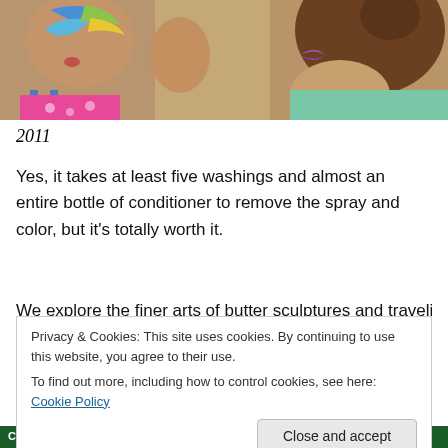[Figure (photo): Two young girls facing each other, both with colorful face paint. One has a butterfly/flower design on her face, the other has similar festive face art. They appear to be at a summer event, wearing bright summery clothing.]
2011
Yes, it takes at least five washings and almost an entire bottle of conditioner to remove the spray and color, but it's totally worth it.
We explore the finer arts of butter sculptures and traveling
Privacy & Cookies: This site uses cookies. By continuing to use this website, you agree to their use.
To find out more, including how to control cookies, see here: Cookie Policy
CREENED. GET INFORMATION. GET DIRECTO